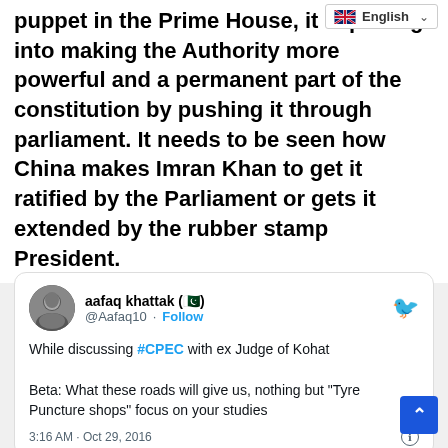puppet in the Prime House, it is putting into making the Authority more powerful and a permanent part of the constitution by pushing it through parliament. It needs to be seen how China makes Imran Khan to get it ratified by the Parliament or gets it extended by the rubber stamp President.
[Figure (screenshot): Tweet by @Aafaq10 (aafaq khattak) discussing #CPEC with ex Judge of Kohat. Tweet text: 'While discussing #CPEC with ex Judge of Kohat
Beta: What these roads will give us, nothing but "Tyre Puncture shops" focus on your studies'. Timestamp: 3:16 AM · Oct 29, 2016]